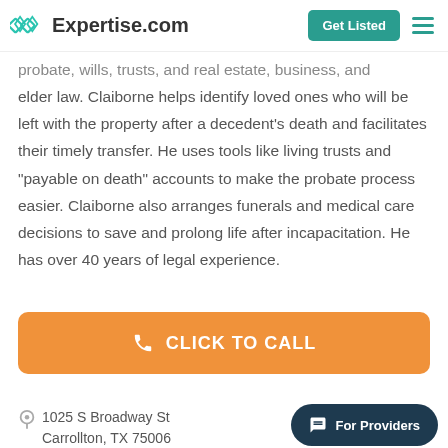Expertise.com — Get Listed
probate, wills, trusts, and real estate, business, and elder law. Claiborne helps identify loved ones who will be left with the property after a decedent's death and facilitates their timely transfer. He uses tools like living trusts and "payable on death" accounts to make the probate process easier. Claiborne also arranges funerals and medical care decisions to save and prolong life after incapacitation. He has over 40 years of legal experience.
[Figure (other): Orange call-to-action button with phone icon and text CLICK TO CALL]
1025 S Broadway St
Carrollton, TX 75006
[Figure (other): For Providers dark teal pill-shaped button with chat icon]